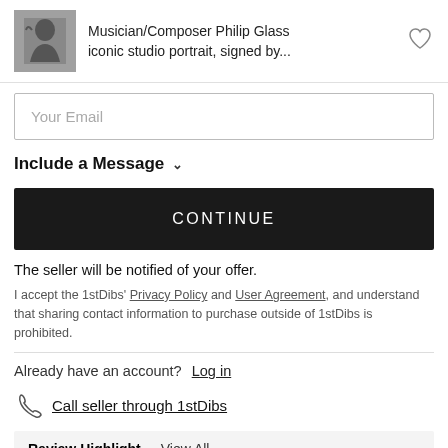Musician/Composer Philip Glass iconic studio portrait, signed by...
Your Email
Include a Message
CONTINUE
The seller will be notified of your offer.
I accept the 1stDibs' Privacy Policy and User Agreement, and understand that sharing contact information to purchase outside of 1stDibs is prohibited.
Already have an account?  Log in
Call seller through 1stDibs
Review Highlight  View All